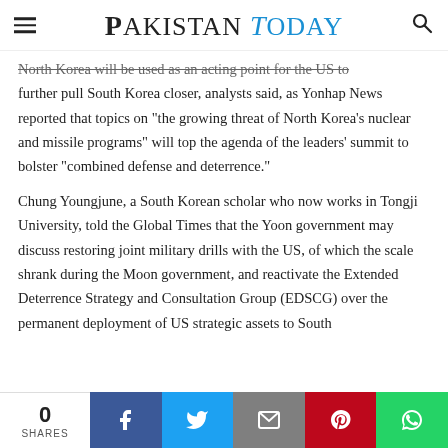Pakistan Today
North Korea will be used as an acting point for the US to further pull South Korea closer, analysts said, as Yonhap News reported that topics on “the growing threat of North Korea’s nuclear and missile programs” will top the agenda of the leaders’ summit to bolster “combined defense and deterrence.”
Chung Youngjune, a South Korean scholar who now works in Tongji University, told the Global Times that the Yoon government may discuss restoring joint military drills with the US, of which the scale shrank during the Moon government, and reactivate the Extended Deterrence Strategy and Consultation Group (EDSCG) over the permanent deployment of US strategic assets to South